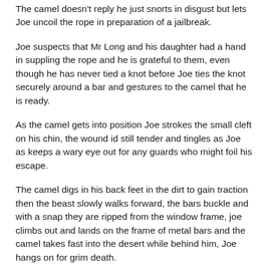The camel doesn't reply he just snorts in disgust but lets Joe uncoil the rope in preparation of a jailbreak.
Joe suspects that Mr Long and his daughter had a hand in suppling the rope and he is grateful to them, even though he has never tied a knot before Joe ties the knot securely around a bar and gestures to the camel that he is ready.
As the camel gets into position Joe strokes the small cleft on his chin, the wound id still tender and tingles as Joe as keeps a wary eye out for any guards who might foil his escape.
The camel digs in his back feet in the dirt to gain traction then the beast slowly walks forward, the bars buckle and with a snap they are ripped from the window frame, joe climbs out and lands on the frame of metal bars and the camel takes fast into the desert while behind him, Joe hangs on for grim death.